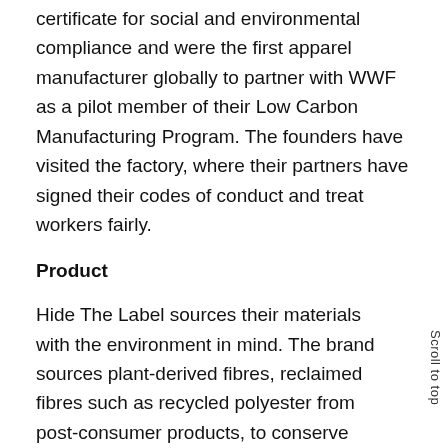certificate for social and environmental compliance and were the first apparel manufacturer globally to partner with WWF as a pilot member of their Low Carbon Manufacturing Program. The founders have visited the factory, where their partners have signed their codes of conduct and treat workers fairly.
Product
Hide The Label sources their materials with the environment in mind. The brand sources plant-derived fibres, reclaimed fibres such as recycled polyester from post-consumer products, to conserve material resources. They combine this with digital printing techniques that use compressed gas to colour the designs with very minimal water use. Also, Hide The Label does not dye with harsh chemicals that can get washed into the environment. They have added Lenzing Eco Vero to their latest collection, which is a more sustainable version of